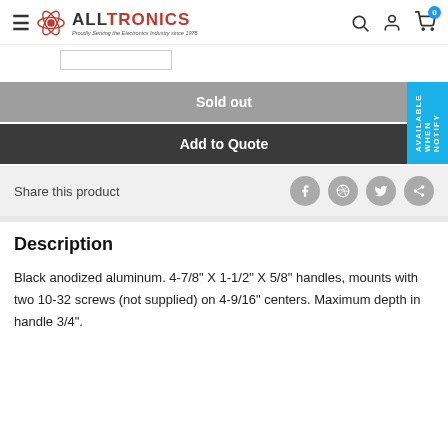[Figure (logo): Alltronics logo with atom icon and tagline 'Proudly Serving the Electronics Industry since 1978']
Sold out
Add to Quote
NOTIFY WHEN AVAILABLE
Share this product
Description
Black anodized aluminum. 4-7/8" X 1-1/2" X 5/8" handles, mounts with two 10-32 screws (not supplied) on 4-9/16" centers. Maximum depth in handle 3/4".